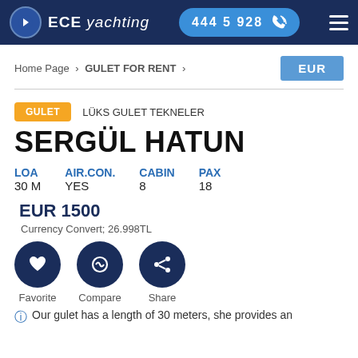ECE yachting | 444 5 928
Home Page > GULET FOR RENT >
EUR
GULET  LÜKS GULET TEKNELER
SERGÜL HATUN
| LOA | AIR.CON. | CABIN | PAX |
| --- | --- | --- | --- |
| 30 M | YES | 8 | 18 |
EUR 1500
Currency Convert; 26.998TL
Favorite  Compare  Share
Our gulet has a length of 30 meters, she provides an